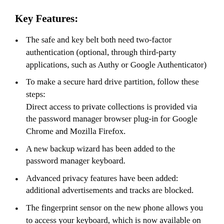Key Features:
The safe and key belt both need two-factor authentication (optional, through third-party applications, such as Authy or Google Authenticator)
To make a secure hard drive partition, follow these steps: Direct access to private collections is provided via the password manager browser plug-in for Google Chrome and Mozilla Firefox.
A new backup wizard has been added to the password manager keyboard.
Advanced privacy features have been added: additional advertisements and tracks are blocked.
The fingerprint sensor on the new phone allows you to access your keyboard, which is now available on Android.
Passwords from the Chrome browser Can be